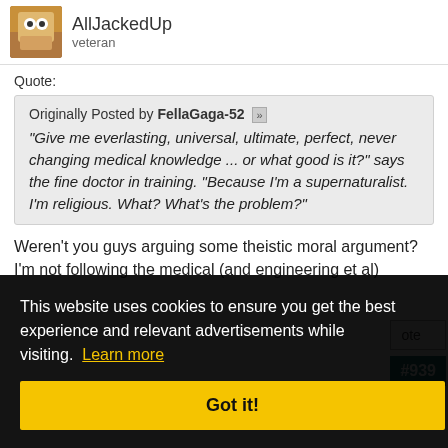AllJackedUp
Veteran
Quote:
Originally Posted by FellaGaga-52 "Give me everlasting, universal, ultimate, perfect, never changing medical knowledge ... or what good is it?" says the fine doctor in training. "Because I'm a supernaturalist. I'm religious. What? What's the problem?"
Weren't you guys arguing some theistic moral argument? I'm not following the medical (and engineering et al)
This website uses cookies to ensure you get the best experience and relevant advertisements while visiting. Learn more
Got it!
#939